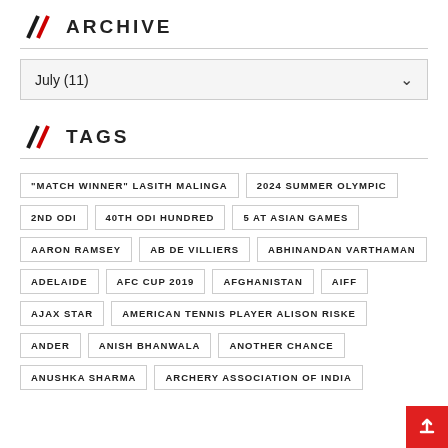ARCHIVE
July (11)
TAGS
"MATCH WINNER" LASITH MALINGA
2024 SUMMER OLYMPIC
2ND ODI
40TH ODI HUNDRED
5 AT ASIAN GAMES
AARON RAMSEY
AB DE VILLIERS
ABHINANDAN VARTHAMAN
ADELAIDE
AFC CUP 2019
AFGHANISTAN
AIFF
AJAX STAR
AMERICAN TENNIS PLAYER ALISON RISKE
ANDER
ANISH BHANWALA
ANOTHER CHANCE
ANUSHKA SHARMA
ARCHERY ASSOCIATION OF INDIA